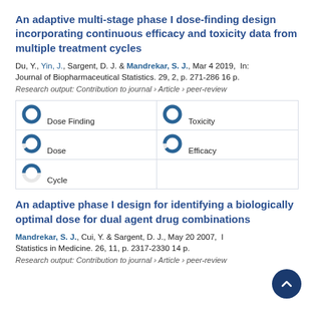An adaptive multi-stage phase I dose-finding design incorporating continuous efficacy and toxicity data from multiple treatment cycles
Du, Y., Yin, J., Sargent, D. J. & Mandrekar, S. J., Mar 4 2019, In: Journal of Biopharmaceutical Statistics. 29, 2, p. 271-286 16 p.
Research output: Contribution to journal › Article › peer-review
Dose Finding | Toxicity | Dose | Efficacy | Cycle
An adaptive phase I design for identifying a biologically optimal dose for dual agent drug combinations
Mandrekar, S. J., Cui, Y. & Sargent, D. J., May 20 2007, In: Statistics in Medicine. 26, 11, p. 2317-2330 14 p.
Research output: Contribution to journal › Article › peer-review